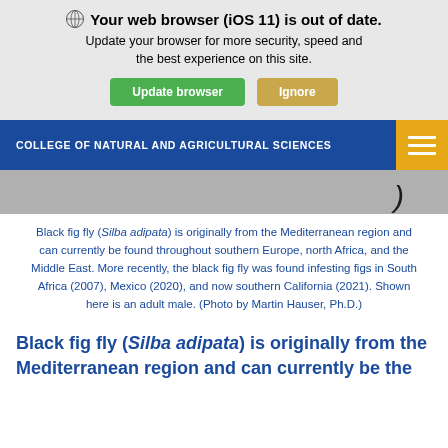Your web browser (iOS 11) is out of date. Update your browser for more security, speed and the best experience on this site.
Update browser | Ignore
COLLEGE OF NATURAL AND AGRICULTURAL SCIENCES
[Figure (photo): Partial close-up photo of a black fig fly on a gray surface, with a dark curved shape visible at the right]
Black fig fly (Silba adipata) is originally from the Mediterranean region and can currently be found throughout southern Europe, north Africa, and the Middle East. More recently, the black fig fly was found infesting figs in South Africa (2007), Mexico (2020), and now southern California (2021). Shown here is an adult male. (Photo by Martin Hauser, Ph.D.)
Black fig fly (Silba adipata) is originally from the Mediterranean region and can currently be the